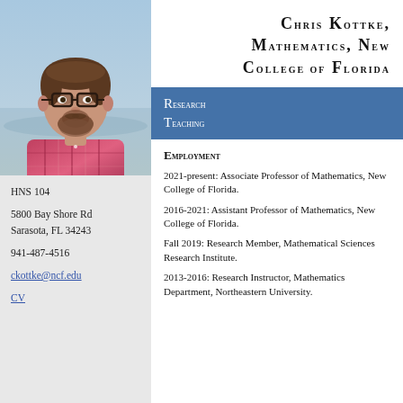[Figure (photo): Headshot photo of Chris Kottke, a man with glasses and a beard wearing a plaid shirt, with a waterfront background]
HNS 104
5800 Bay Shore Rd
Sarasota, FL 34243
941-487-4516
ckottke@ncf.edu
CV
Chris Kottke, Mathematics, New College of Florida
Research
Teaching
Employment
2021-present: Associate Professor of Mathematics, New College of Florida.
2016-2021: Assistant Professor of Mathematics, New College of Florida.
Fall 2019: Research Member, Mathematical Sciences Research Institute.
2013-2016: Research Instructor, Mathematics Department, Northeastern University.